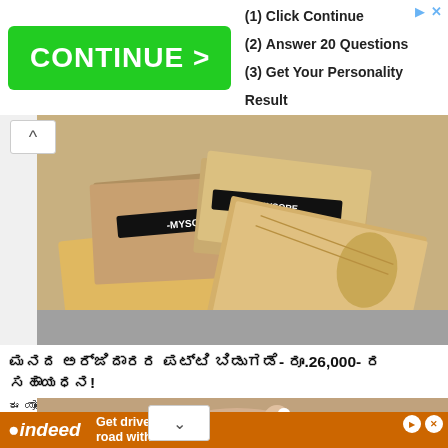[Figure (screenshot): Green CONTINUE > button advertisement with steps: (1) Click Continue, (2) Answer 20 Questions, (3) Get Your Personality Result]
[Figure (photo): Stacks of Indian rupee currency notes bundled with Mysore Bank labels on a grey surface]
ಮನದ ಅರ್ಜಿದಾರರ ಪಟ್ಟಿ ಬಿಡುಗಡೆ- ರೂ.26,000- ರ ಸಹಾಯಧನ!
ಈ ಯೋಜನೆ ಅಡಿಯಲ್ಲಿ ಅರ್ಹರು, ಪ್ರತಿ ಎಕರೆ ಭೂಮಿಗೆ, ಅರ್ಜಿದಾರರಿಗೆ ಸಹಾಯ ಮಾನ್ಯತೆ ಕಾಯಿದೆ ಅನ್ವಯ ಸಹಾಯಧನ ನೀಡಲಾಗ.
Krishijagran
[Figure (photo): Close-up of hands in beige/brown clothing]
[Figure (screenshot): Indeed advertisement: Get drivers on the road with Indeed.]